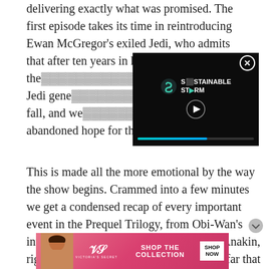delivering exactly what was promised. The first episode takes its time in reintroducing Ewan McGregor's exiled Jedi, who admits that after ten years in hiding, he's "not the [Jedi he was]". Going from famed Jedi general to small-time butcher is quite a fall, and we see a man who has abandoned hope for the fut[ure].
[Figure (screenshot): Video popup overlay showing a media player with 'Sustainable Stream' logo, a play button, and a progress bar. A close (X) button appears in the top right corner.]
This is made all the more emotional by the way the show begins. Crammed into a few minutes we get a condensed recap of every important event in the Prequel Trilogy, from Obi-Wan's introduction and his first encounter with Anakin, right up until the volcanic clash on Mustafar that created Darth Vader, culminating in Kenobi's vows to protect the young Luke
[Figure (screenshot): Victoria's Secret advertisement banner with pink background, model photo, VS logo, 'SHOP THE COLLECTION' text, and 'SHOP NOW' button.]